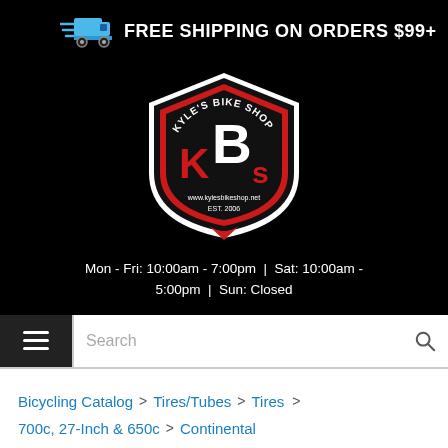[Figure (infographic): Blue delivery truck icon with motion lines, indicating free shipping]
FREE SHIPPING ON ORDERS $99+
[Figure (logo): Kyle's Bike Shop logo — shield shape with red, black and white colors showing KBs letters, www.kylesbikeshop.net, EST. 2006]
Mon - Fri: 10:00am - 7:00pm | Sat: 10:00am - 5:00pm | Sun: Closed
Search
Bicycling Catalog > Tires/Tubes > Tires > 700c, 27-Inch & 650c > Continental
Continental